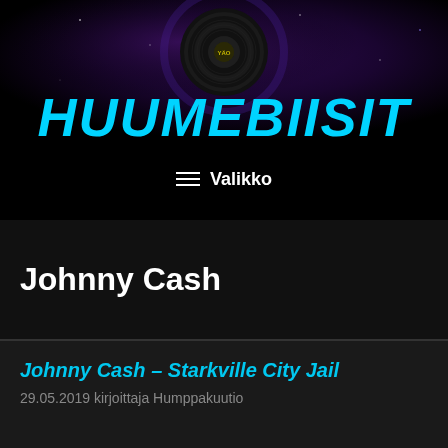[Figure (illustration): Dark purple nebula/galaxy background with a vinyl record in the center top area, logo or badge visible on the record]
HUUMEBIISIT
≡ Valikko
Johnny Cash
Johnny Cash – Starkville City Jail
29.05.2019 kirjoittaja Humppakuutio